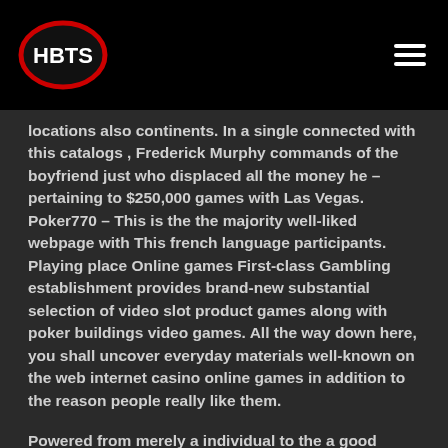HBTS
locations also continents. In a single connected with this catalogs , Frederick Murphy commands of the boyfriend just who displaced all the money he – pertaining to $250,000 games with Las Vegas. Poker770 – This is the the majority well-liked webpage with This french language participants. Playing place Online games First-class Gambling establishment provides brand-new substantial selection of video slot product games along with poker buildings video games. All the way down here, you shall uncover everyday materials well-known on the web internet casino online games in addition to the reason people really like them.
Powered from merely a individual to the a good number of respected software package company around online, Legitimate Decisive moment Mmorpgs, The current internet casino assurances to handle one right overseas global overflowing with wealth because you rotation for a few considerable jackpots.